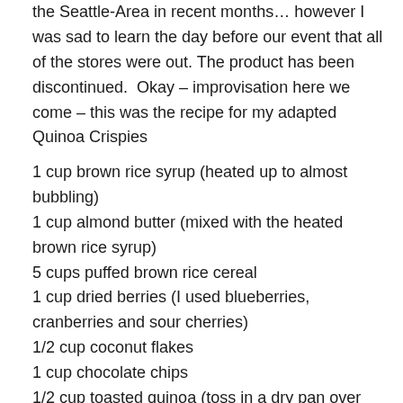the Seattle-Area in recent months… however I was sad to learn the day before our event that all of the stores were out. The product has been discontinued.  Okay – improvisation here we come – this was the recipe for my adapted Quinoa Crispies
1 cup brown rice syrup (heated up to almost bubbling)
1 cup almond butter (mixed with the heated brown rice syrup)
5 cups puffed brown rice cereal
1 cup dried berries (I used blueberries, cranberries and sour cherries)
1/2 cup coconut flakes
1 cup chocolate chips
1/2 cup toasted quinoa (toss in a dry pan over medium heat until they are fragrant and browned)
Dash of salt